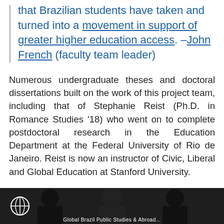that Brazilian students have taken and turned into a movement in support of greater higher education access. –John French (faculty team leader)
Numerous undergraduate theses and doctoral dissertations built on the work of this project team, including that of Stephanie Reist (Ph.D. in Romance Studies '18) who went on to complete postdoctoral research in the Education Department at the Federal University of Rio de Janeiro. Reist is now an instructor of Civic, Liberal and Global Education at Stanford University.
[Figure (photo): A photo strip at the bottom of the page showing group photos of students/faculty, partially visible, with a globe icon on the left and caption text reading 'Global Brazil Public Studies' or similar.]